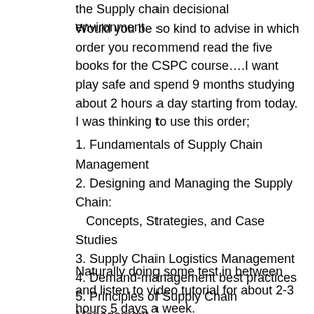the Supply chain decisional environment.
Would you be so kind to advise in which order you recommend read the five books for the CSPC course….I want play safe and spend 9 months studying about 2 hours a day starting from today.
I was thinking to use this order;
1. Fundamentals of Supply Chain Management
2. Designing and Managing the Supply Chain: Concepts, Strategies, and Case Studies
3. Supply Chain Logistics Management
4. Demand-management best practices
5. Principles of Supply Chain Management
6. Introduction to Supply Chain Management Technologies
Naturally doing some test in between and listen to video tutorial for about 2-3 hours 5 days a week.